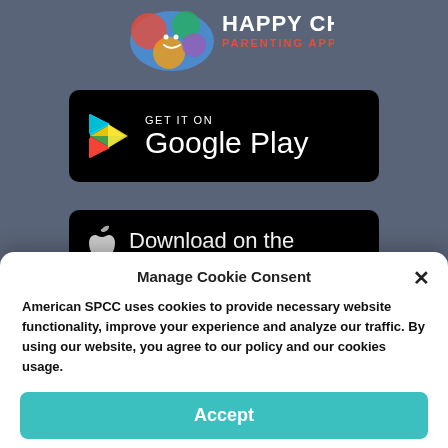[Figure (logo): Happy Child Parenting App logo with colorful speech bubble and text]
[Figure (screenshot): GET IT ON Google Play button - black rounded rectangle with Google Play triangle logo and text]
[Figure (screenshot): Download on the App Store button - black rounded rectangle with Apple logo, partially visible]
Manage Cookie Consent
American SPCC uses cookies to provide necessary website functionality, improve your experience and analyze our traffic. By using our website, you agree to our policy and our cookies usage.
Accept
Cookie Policy   Privacy Policy